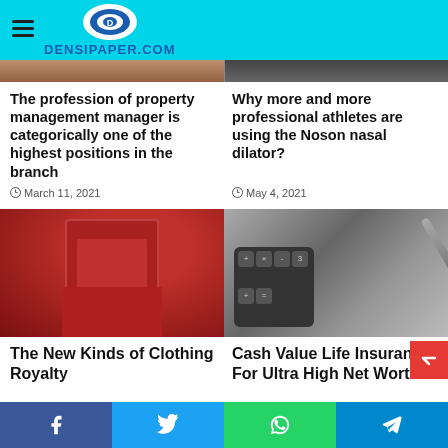DENSIPAPER.COM
[Figure (photo): Partial view of article image top left - property management]
[Figure (photo): Partial view of article image top right - athletes/Noson nasal dilator]
The profession of property management manager is categorically one of the highest positions in the branch
March 11, 2021
Why more and more professional athletes are using the Noson nasal dilator?
May 4, 2021
[Figure (photo): Red satin/silky jacket or robe on white background]
[Figure (photo): Calculator with pen and ruler - black and white photo, finance/insurance themed]
The New Kinds of Clothing Royalty
Cash Value Life Insurance For Ultra High Net Worth
Social share bar: Facebook, Twitter, WhatsApp, Telegram